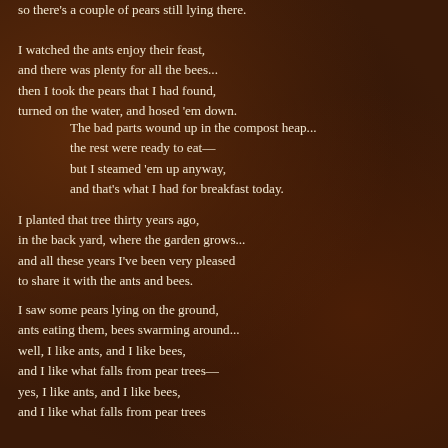so there's a couple of pears still lying there.
I watched the ants enjoy their feast,
and there was plenty for all the bees...
then I took the pears that I had found,
turned on the water, and hosed 'em down.
The bad parts wound up in the compost heap...
the rest were ready to eat—
but I steamed 'em up anyway,
and that's what I had for breakfast today.
I planted that tree thirty years ago,
in the back yard, where the garden grows...
and all these years I've been very pleased
to share it with the ants and bees.
I saw some pears lying on the ground,
ants eating them, bees swarming around...
well, I like ants, and I like bees,
and I like what falls from pear trees—
yes, I like ants, and I like bees,
and I like what falls from pear trees